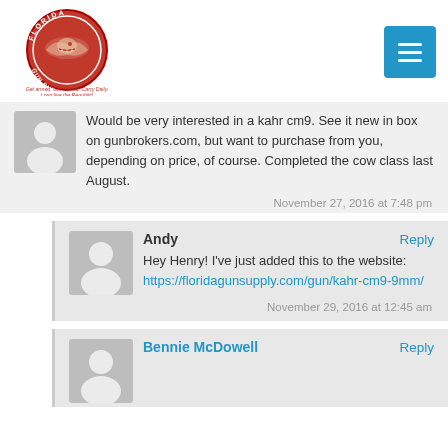[Figure (logo): Florida Gun Supply logo — circular red badge with alligator and text 'Get armed. Get trained. Carry Daily. Long live the Republic!']
Would be very interested in a kahr cm9. See it new in box on gunbrokers.com, but want to purchase from you, depending on price, of course. Completed the cow class last August.
November 27, 2016 at 7:48 pm
Andy
Reply
Hey Henry! I've just added this to the website: https://floridagunsupply.com/gun/kahr-cm9-9mm/
November 29, 2016 at 12:45 am
Bennie McDowell
Reply